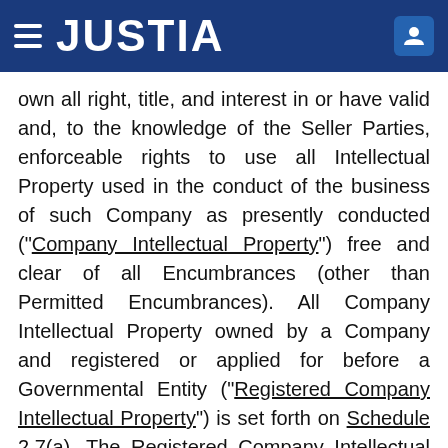JUSTIA
own all right, title, and interest in or have valid and, to the knowledge of the Seller Parties, enforceable rights to use all Intellectual Property used in the conduct of the business of such Company as presently conducted (“Company Intellectual Property”) free and clear of all Encumbrances (other than Permitted Encumbrances). All Company Intellectual Property owned by a Company and registered or applied for before a Governmental Entity (“Registered Company Intellectual Property”) is set forth on Schedule 2.7(a). The Registered Company Intellectual Property and each Company’s rights therein are valid and subsisting and, to the knowledge of the Seller Parties, enforceable. The Companies have taken commercially reasonable measures to protect, preserve and maintain the confidentiality of all confidential information and trade secrets of any of the Companies. To the knowledge of the Seller Parties, there has not